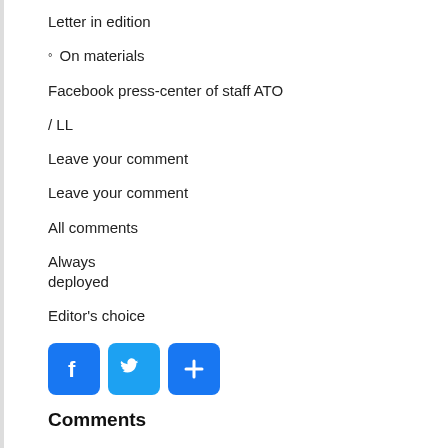Letter in edition
° On materials
Facebook press-center of staff ATO
/ LL
Leave your comment
Leave your comment
All comments
Always
deployed
Editor's choice
[Figure (infographic): Three social media share buttons: Facebook (blue f), Twitter (blue bird), and plus/share button (blue +)]
Comments